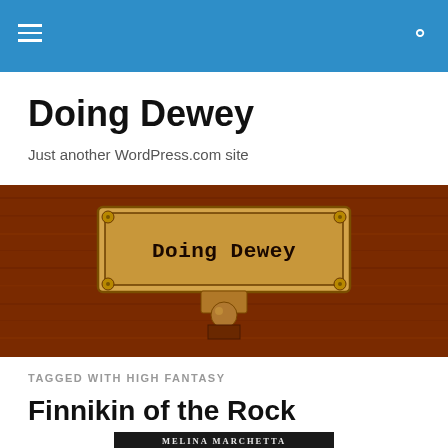Navigation bar with menu and search icons
Doing Dewey
Just another WordPress.com site
[Figure (illustration): Wooden card catalog drawer label reading 'Doing Dewey' in typewriter font on a brown wooden background]
TAGGED WITH HIGH FANTASY
Finnikin of the Rock
MELINA MARCHETTA